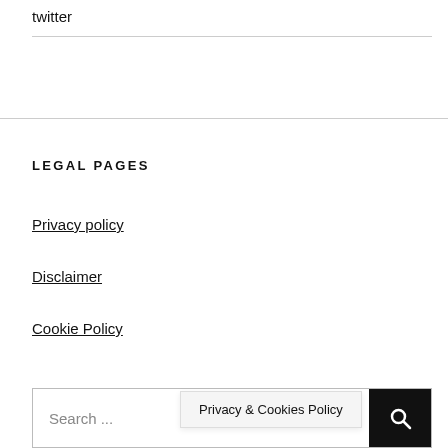twitter
LEGAL PAGES
Privacy policy
Disclaimer
Cookie Policy
Search ...
Privacy & Cookies Policy